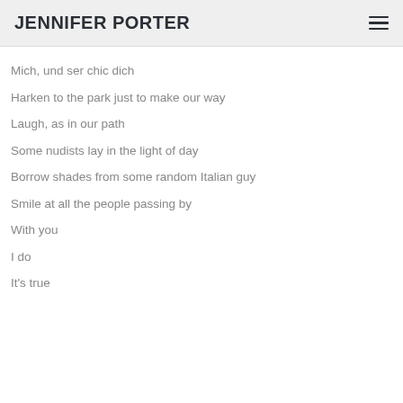JENNIFER PORTER
Mich, und ser chic dich
Harken to the park just to make our way
Laugh, as in our path
Some nudists lay in the light of day
Borrow shades from some random Italian guy
Smile at all the people passing by
With you
I do
It's true